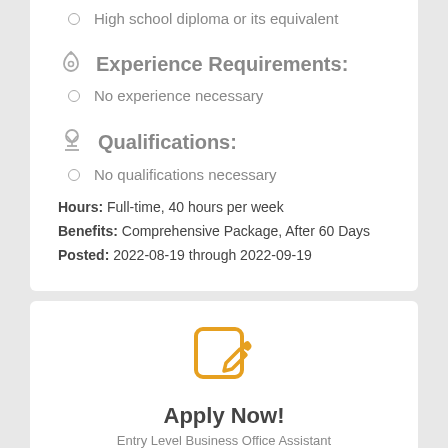High school diploma or its equivalent
Experience Requirements:
No experience necessary
Qualifications:
No qualifications necessary
Hours: Full-time, 40 hours per week
Benefits: Comprehensive Package, After 60 Days
Posted: 2022-08-19 through 2022-09-19
[Figure (illustration): Orange edit/write icon (rounded square with pencil)]
Apply Now!
Entry Level Business Office Assistant